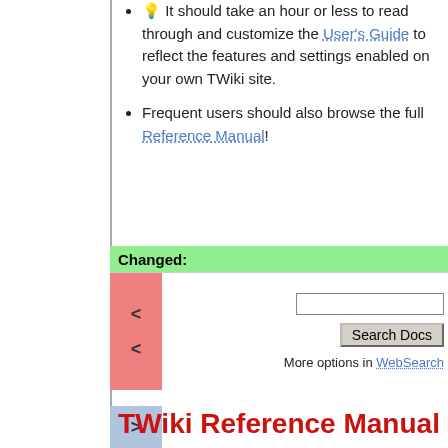💡 It should take an hour or less to read through and customize the User's Guide to reflect the features and settings enabled on your own TWiki site.
Frequent users should also browse the full Reference Manual!
Changed:
[Figure (other): Diff block showing removed lines (red left bar with < markers) and a search box with 'Search Docs' button and 'More options in WebSearch' link]
[Figure (other): Added lines block with blue/lavender left bar showing > markers]
TWiki Reference Manual